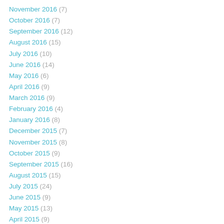November 2016 (7)
October 2016 (7)
September 2016 (12)
August 2016 (15)
July 2016 (10)
June 2016 (14)
May 2016 (6)
April 2016 (9)
March 2016 (9)
February 2016 (4)
January 2016 (8)
December 2015 (7)
November 2015 (8)
October 2015 (9)
September 2015 (16)
August 2015 (15)
July 2015 (24)
June 2015 (9)
May 2015 (13)
April 2015 (9)